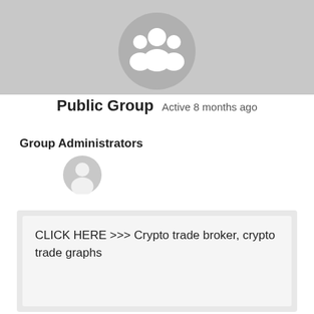[Figure (illustration): Gray banner background at top of page with a circular group avatar icon showing three white silhouette figures on a gray circle background]
Public Group  Active 8 months ago
Group Administrators
[Figure (illustration): Small circular gray avatar icon showing a single white user silhouette — admin profile placeholder]
CLICK HERE >>> Crypto trade broker, crypto trade graphs